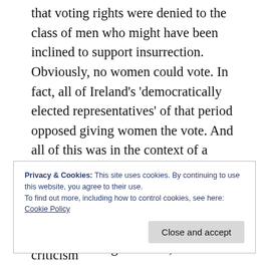that voting rights were denied to the class of men who might have been inclined to support insurrection. Obviously, no women could vote. In fact, all of Ireland's 'democratically elected representatives' of that period opposed giving women the vote. And all of this was in the context of a Union which itself had never been voted on by any ordinary Irish person. Further, in WW1, over 2.5 million men, few of whom would have had the right to vote, were
Privacy & Cookies: This site uses cookies. By continuing to use this website, you agree to their use.
To find out more, including how to control cookies, see here:
Cookie Policy

Close and accept
Much has been made of the related criticism